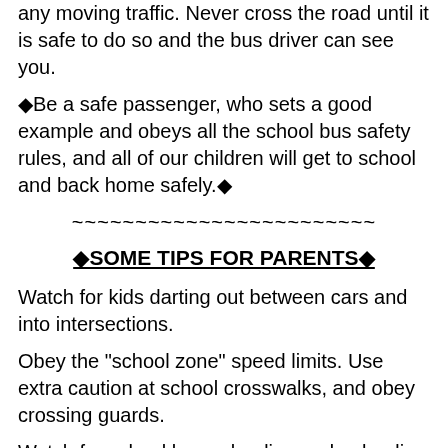any moving traffic. Never cross the road until it is safe to do so and the bus driver can see you.
◆Be a safe passenger, who sets a good example and obeys all the school bus safety rules, and all of our children will get to school and back home safely.◆
~~~~~~~~~~~~~~~~~~~~~~~~
◆SOME TIPS FOR PARENTS◆
Watch for kids darting out between cars and into intersections.
Obey the "school zone" speed limits. Use extra caution at school crosswalks, and obey crossing guards.
Watch for school buses loading and unloading students. Stop when you see the red lights flashing; it's the law.
Be sure your child knows his or her home phone number and address, your work number, the number of another trusted adult, and how to use